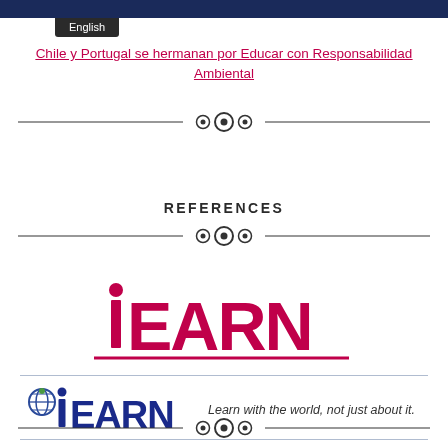English
Chile y Portugal se hermanan por Educar con Responsabilidad Ambiental
REFERENCES
[Figure (logo): iEARN large red logo with underline]
[Figure (logo): iEARN footer logo with globe icon and tagline: Learn with the world, not just about it.]